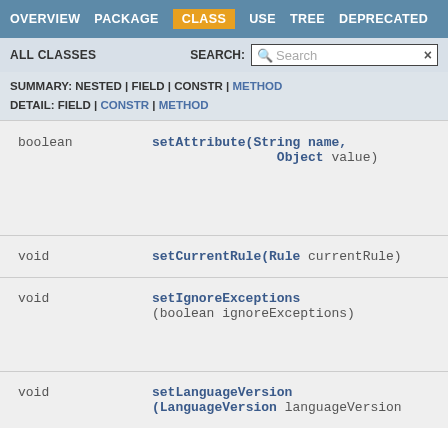OVERVIEW  PACKAGE  CLASS  USE  TREE  DEPRECATED
ALL CLASSES    SEARCH:
| Type | Method |
| --- | --- |
| boolean | setAttribute(String name, Object value) |
| void | setCurrentRule(Rule currentRule) |
| void | setIgnoreExceptions(boolean ignoreExceptions) |
| void | setLanguageVersion(LanguageVersion languageVersion) |
SUMMARY: NESTED | FIELD | CONSTR | METHOD
DETAIL: FIELD | CONSTR | METHOD